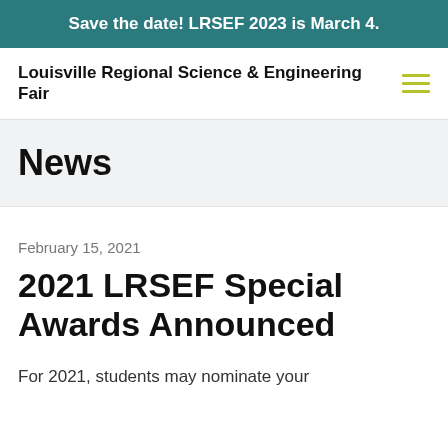Save the date! LRSEF 2023 is March 4.
Louisville Regional Science & Engineering Fair
News
February 15, 2021
2021 LRSEF Special Awards Announced
For 2021, students may nominate your